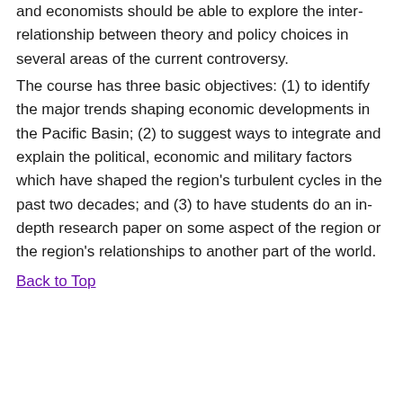and economists should be able to explore the inter-relationship between theory and policy choices in several areas of the current controversy.
The course has three basic objectives: (1) to identify the major trends shaping economic developments in the Pacific Basin; (2) to suggest ways to integrate and explain the political, economic and military factors which have shaped the region's turbulent cycles in the past two decades; and (3) to have students do an in-depth research paper on some aspect of the region or the region's relationships to another part of the world.
Back to Top